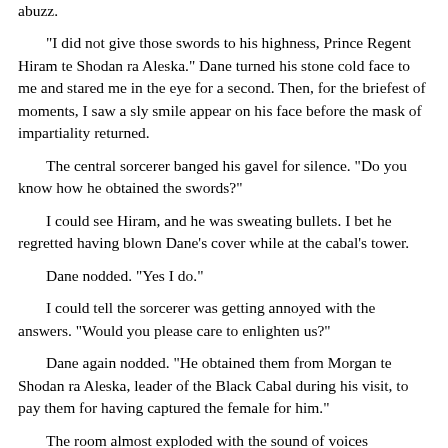abuzz.
"I did not give those swords to his highness, Prince Regent Hiram te Shodan ra Aleska." Dane turned his stone cold face to me and stared me in the eye for a second. Then, for the briefest of moments, I saw a sly smile appear on his face before the mask of impartiality returned.
The central sorcerer banged his gavel for silence. "Do you know how he obtained the swords?"
I could see Hiram, and he was sweating bullets. I bet he regretted having blown Dane's cover while at the cabal's tower.
Dane nodded. "Yes I do."
I could tell the sorcerer was getting annoyed with the answers. "Would you please care to enlighten us?"
Dane again nodded. "He obtained them from Morgan te Shodan ra Aleska, leader of the Black Cabal during his visit, to pay them for having captured the female for him."
The room almost exploded with the sound of voices screaming. Not unexpectedly, one of them was the voice of Hiram as he drew my Katana then leapt over the bench and charged Dane. Dane drew